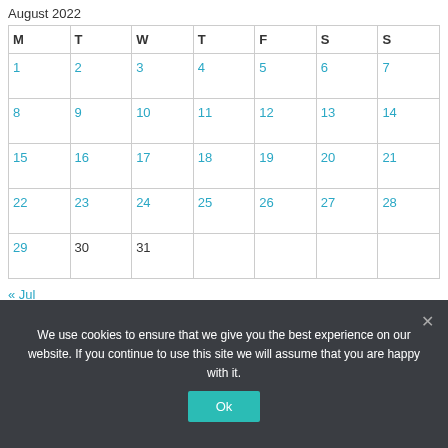August 2022
| M | T | W | T | F | S | S |
| --- | --- | --- | --- | --- | --- | --- |
| 1 | 2 | 3 | 4 | 5 | 6 | 7 |
| 8 | 9 | 10 | 11 | 12 | 13 | 14 |
| 15 | 16 | 17 | 18 | 19 | 20 | 21 |
| 22 | 23 | 24 | 25 | 26 | 27 | 28 |
| 29 | 30 | 31 |  |  |  |  |
« Jul
We use cookies to ensure that we give you the best experience on our website. If you continue to use this site we will assume that you are happy with it.